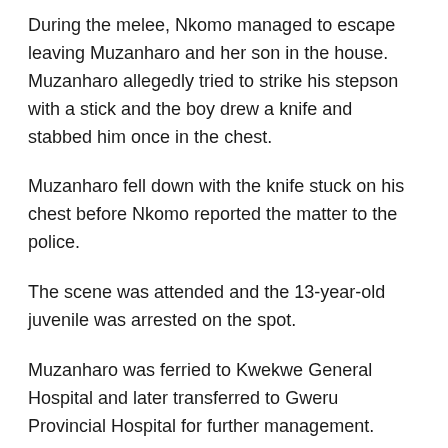During the melee, Nkomo managed to escape leaving Muzanharo and her son in the house. Muzanharo allegedly tried to strike his stepson with a stick and the boy drew a knife and stabbed him once in the chest.
Muzanharo fell down with the knife stuck on his chest before Nkomo reported the matter to the police.
The scene was attended and the 13-year-old juvenile was arrested on the spot.
Muzanharo was ferried to Kwekwe General Hospital and later transferred to Gweru Provincial Hospital for further management.
Inspector Mahoko appealed to members of the public not to resort to violence.